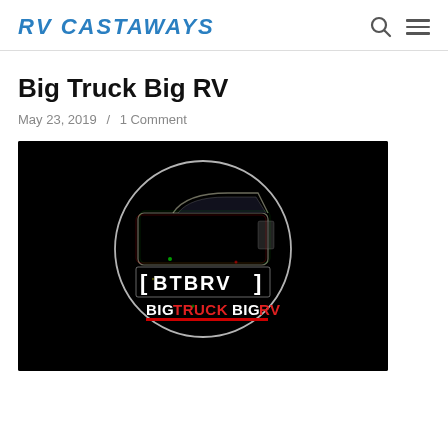RV CASTAWAYS
Big Truck Big RV
May 23, 2019 / 1 Comment
[Figure (logo): Big Truck Big RV (BTBRV) logo on black background — white circle outline with a truck silhouette inside, text [BTBRV] in white with brackets, and BIGTRUCKBIGRV below in white and red lettering]